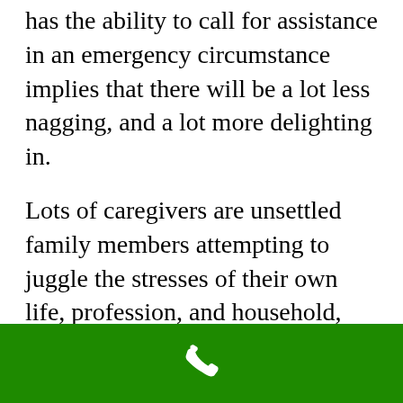has the ability to call for assistance in an emergency circumstance implies that there will be a lot less nagging, and a lot more delighting in.
Lots of caregivers are unsettled family members attempting to juggle the stresses of their own life, profession, and household, with that of taking care of a loved ones. A tracking system can help take some of the worry and tension away, and lighten the load for the caregiver.
[Figure (other): Green footer bar with a white telephone/call icon centered on it]